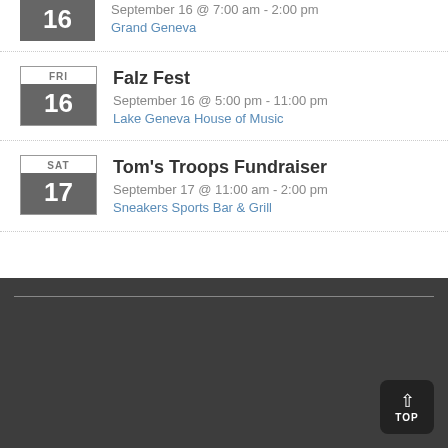September 16 @ 7:00 am - 2:00 pm | Grand Geneva
Falz Fest | September 16 @ 5:00 pm - 11:00 pm | Lake Geneva House of Music
Tom's Troops Fundraiser | September 17 @ 11:00 am - 2:00 pm | Sneakers Sports Bar & Grill
[Figure (other): Dark footer area with horizontal line and a TOP button in the bottom right corner with an upward chevron arrow.]